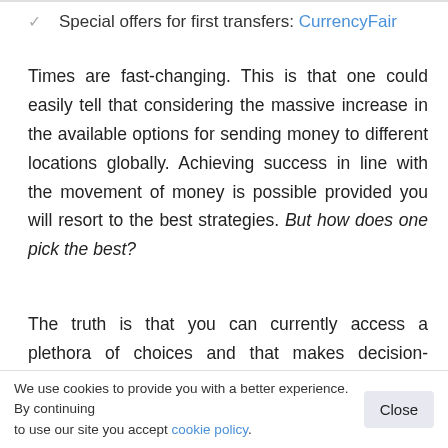Special offers for first transfers: CurrencyFair
Times are fast-changing. This is that one could easily tell that considering the massive increase in the available options for sending money to different locations globally. Achieving success in line with the movement of money is possible provided you will resort to the best strategies. But how does one pick the best?
The truth is that you can currently access a plethora of choices and that makes decision-making quite complicated. However, finding someone you can trust and also the one that provides you with all the information that you need is a step in the right direction. On our website, we outline the best services to transfer money to Hong Kong and
We use cookies to provide you with a better experience. By continuing to use our site you accept cookie policy.